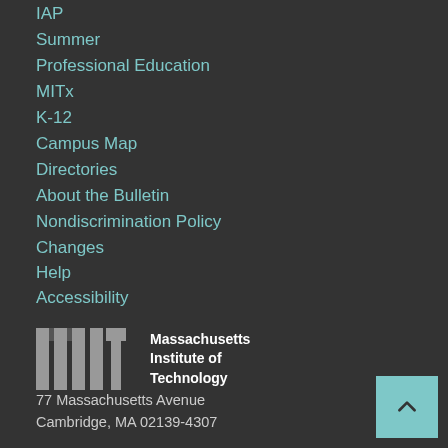IAP
Summer
Professional Education
MITx
K-12
Campus Map
Directories
About the Bulletin
Nondiscrimination Policy
Changes
Help
Accessibility
[Figure (logo): MIT logo with text Massachusetts Institute of Technology]
77 Massachusetts Avenue
Cambridge, MA 02139-4307